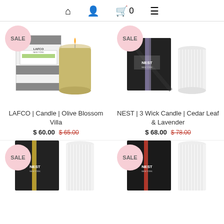🏠 👤 🛒 0 ☰
[Figure (photo): LAFCO candle with box - Olive Blossom Villa scent, a lit amber glass candle next to white box with black stripe]
LAFCO | Candle | Olive Blossom Villa
$ 60.00  $ 65.00
[Figure (photo): NEST 3 Wick Candle - Cedar Leaf & Lavender, dark patterned box with white ribbed glass candle]
NEST | 3 Wick Candle | Cedar Leaf & Lavender
$ 68.00  $ 78.00
[Figure (photo): NEST candle with gold stripe box and white ribbed candle, partial view]
[Figure (photo): NEST candle with dark box and red stripe and white ribbed candle, partial view]